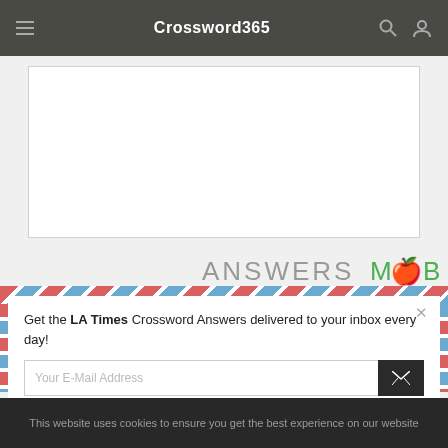Crossword365
[Figure (screenshot): White content placeholder box on light gray background]
[Figure (logo): AnswersMob partial logo visible behind modal overlay]
Get the LA Times Crossword Answers delivered to your inbox every day!
Your E-Mail Address
This website uses cookies to ensure you get the best experience on our website